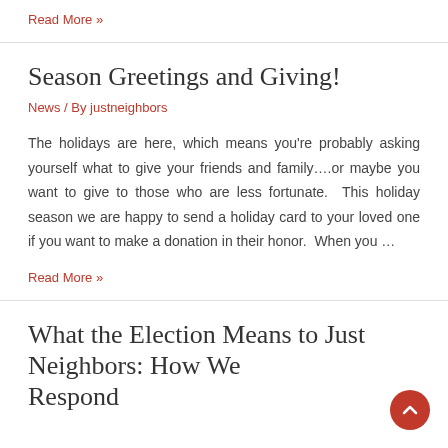Read More »
Season Greetings and Giving!
News / By justneighbors
The holidays are here, which means you're probably asking yourself what to give your friends and family….or maybe you want to give to those who are less fortunate.  This holiday season we are happy to send a holiday card to your loved one if you want to make a donation in their honor.  When you …
Read More »
What the Election Means to Just Neighbors: How We Respond